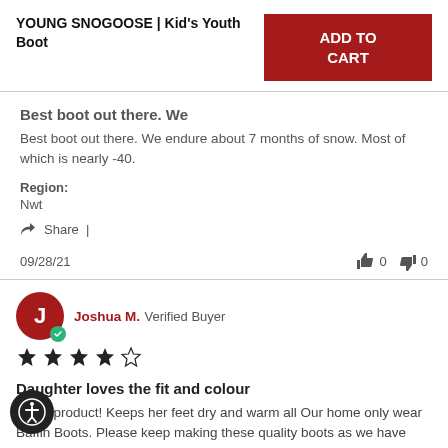YOUNG SNOGOOSE | Kid's Youth Boot
ADD TO CART
Best boot out there. We
Best boot out there. We endure about 7 months of snow. Most of which is nearly -40.
Region:
Nwt
Share |
09/28/21
0  0
Joshua M. Verified Buyer
Daughter loves the fit and colour
derful product! Keeps her feet dry and warm all Our home only wear Baffin Boots. Please keep making these quality boots as we have lived in the